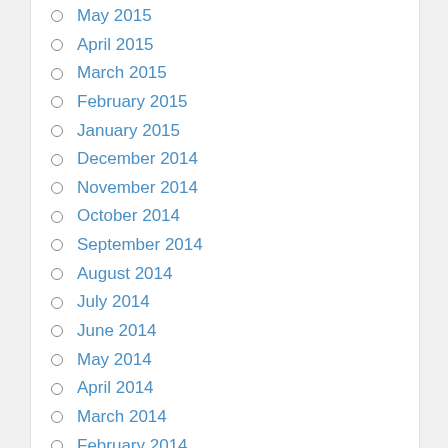May 2015
April 2015
March 2015
February 2015
January 2015
December 2014
November 2014
October 2014
September 2014
August 2014
July 2014
June 2014
May 2014
April 2014
March 2014
February 2014
January 2014
December 2013
November 2013
October 2013